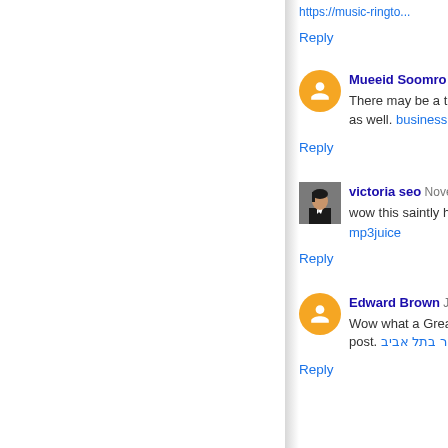https://music-ringto...
Reply
Mueeid Soomro N...
There may be a tra... as well. business o...
Reply
victoria seo Nove...
wow this saintly ho... mp3juice
Reply
Edward Brown Ja...
Wow what a Great... post. בור בתל אביב
Reply